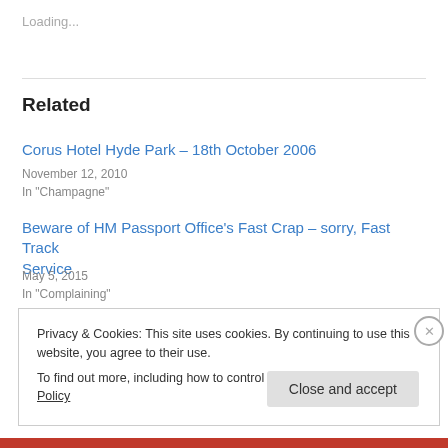Loading...
Related
Corus Hotel Hyde Park – 18th October 2006
November 12, 2010
In "Champagne"
Beware of HM Passport Office's Fast Crap – sorry, Fast Track Service
May 5, 2015
In "Complaining"
Privacy & Cookies: This site uses cookies. By continuing to use this website, you agree to their use.
To find out more, including how to control cookies, see here: Cookie Policy
Close and accept